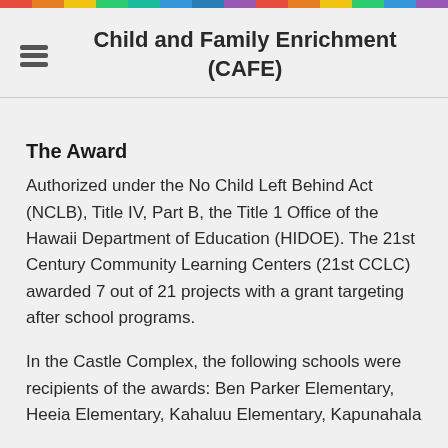Child and Family Enrichment (CAFE)
The Award
Authorized under the No Child Left Behind Act (NCLB), Title IV, Part B, the Title 1 Office of the Hawaii Department of Education (HIDOE). The 21st Century Community Learning Centers (21st CCLC) awarded 7 out of 21 projects with a grant targeting after school programs.
In the Castle Complex, the following schools were recipients of the awards: Ben Parker Elementary, Heeia Elementary, Kahaluu Elementary, Kapunahala